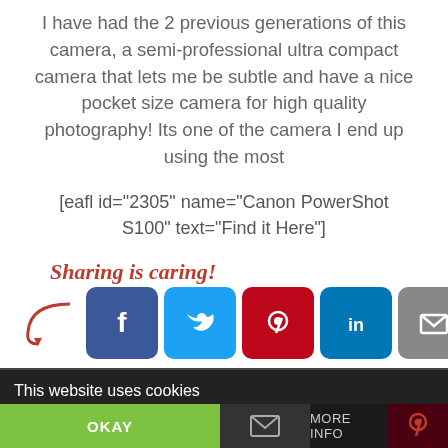I have had the 2 previous generations of this camera, a semi-professional ultra compact camera that lets me be subtle and have a nice pocket size camera for high quality photography! Its one of the camera I end up using the most
[eafl id="2305" name="Canon PowerShot S100" text="Find it Here"]
[Figure (infographic): Sharing is caring! text with arrow and social media share buttons for Facebook, Twitter, Pinterest, LinkedIn, Email, and More options]
This website uses cookies  OKAY  MORE INFO